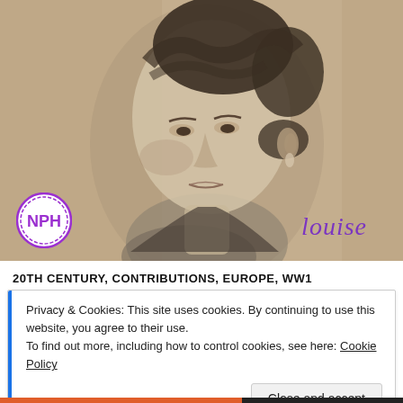[Figure (illustration): Charcoal or pencil portrait drawing of a woman with dark hair pulled back, looking slightly to the left. Sepia/beige background. NPH circular logo badge at bottom left. Cursive purple signature 'louise' at bottom right.]
20TH CENTURY, CONTRIBUTIONS, EUROPE, WW1
Privacy & Cookies: This site uses cookies. By continuing to use this website, you agree to their use.
To find out more, including how to control cookies, see here: Cookie Policy
Close and accept